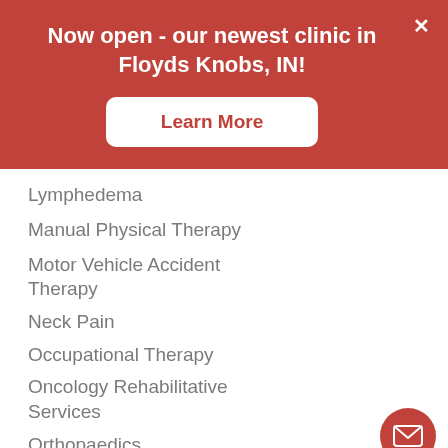Now open - our newest clinic in Floyds Knobs, IN!
Learn More
Lymphedema
Manual Physical Therapy
Motor Vehicle Accident Therapy
Neck Pain
Occupational Therapy
Oncology Rehabilitative Services
Orthopaedics
Orthotics
Osteopenia and